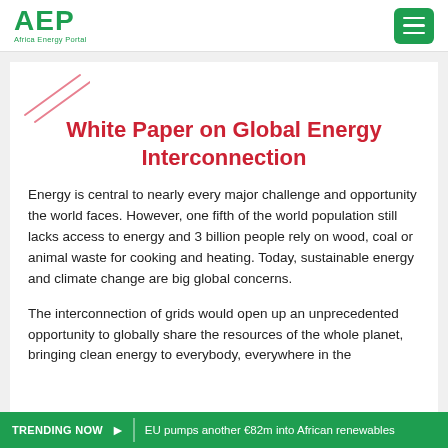AEP Africa Energy Portal
White Paper on Global Energy Interconnection
Energy is central to nearly every major challenge and opportunity the world faces. However, one fifth of the world population still lacks access to energy and 3 billion people rely on wood, coal or animal waste for cooking and heating. Today, sustainable energy and climate change are big global concerns.
The interconnection of grids would open up an unprecedented opportunity to globally share the resources of the whole planet, bringing clean energy to everybody, everywhere in the
TRENDING NOW  EU pumps another €82m into African renewables